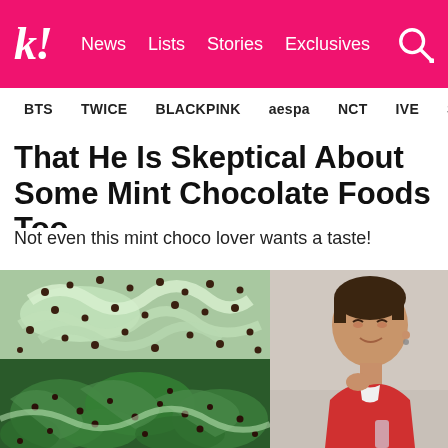k! News  Lists  Stories  Exclusives
BTS  TWICE  BLACKPINK  aespa  NCT  IVE  SHINee
That He Is Skeptical About Some Mint Chocolate Foods Too
Not even this mint choco lover wants a taste!
[Figure (photo): Mint chocolate noodles with chocolate chips on green background, and green vegetables with chocolate chips; a Korean male celebrity in red outfit making a disgusted face]